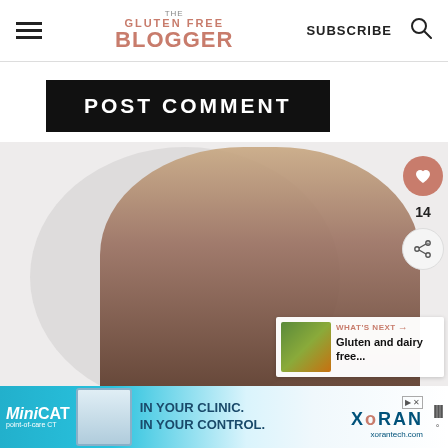THE GLUTEN FREE BLOGGER | SUBSCRIBE
POST COMMENT
[Figure (photo): Person looking down with long brown hair, in front of circular background, with heart/share side buttons and a 'What's Next' panel showing Gluten and dairy free... article link]
WHAT'S NEXT → Gluten and dairy free...
[Figure (advertisement): MiniCAT point-of-care CT advertisement with text IN YOUR CLINIC. IN YOUR CONTROL. and Xoran branding, xorantech.com]